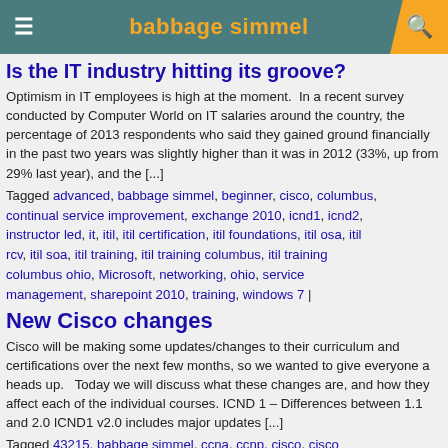babbage simmel
Is the IT industry hitting its groove?
Optimism in IT employees is high at the moment.  In a recent survey conducted by Computer World on IT salaries around the country, the percentage of 2013 respondents who said they gained ground financially in the past two years was slightly higher than it was in 2012 (33%, up from 29% last year), and the [...]
Tagged advanced, babbage simmel, beginner, cisco, columbus, continual service improvement, exchange 2010, icnd1, icnd2, instructor led, it, itil, itil certification, itil foundations, itil osa, itil rcv, itil soa, itil training, itil training columbus, itil training columbus ohio, Microsoft, networking, ohio, service management, sharepoint 2010, training, windows 7 |
New Cisco changes
Cisco will be making some updates/changes to their curriculum and certifications over the next few months, so we wanted to give everyone a heads up.   Today we will discuss what these changes are, and how they affect each of the individual courses.  ICND 1 – Differences between 1.1 and 2.0 ICND1 v2.0 includes major updates [...]
Tagged 43215, babbage simmel, ccna, ccnp, cisco, cisco